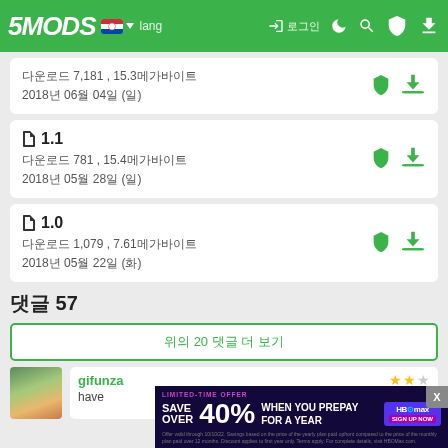5MODS
다운로드 7,181 , 15.3메가바이트
2018년 06월 04일 (일)
📄 1.1
다운로드 781 , 15.4메가바이트
2018년 05월 28일 (일)
📄 1.0
다운로드 1,079 , 7.61메가바이트
2018년 05월 22일 (화)
댓글 57
위의 20 댓글 더 보기
gifunza
have
[Figure (infographic): HBO Max advertisement banner: Save over 40% when you prepay for a year. Limited-time offer.]